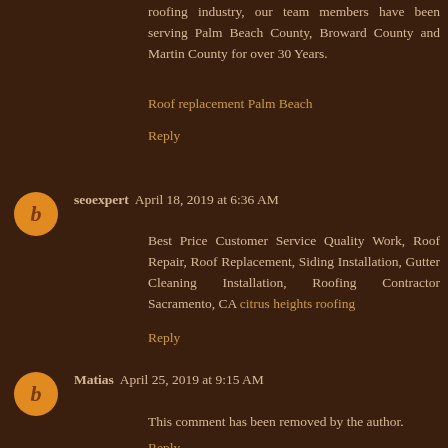roofing industry, our team members have been serving Palm Beach County, Broward County and Martin County for over 30 Years.
Roof replacement Palm Beach
Reply
seoexpert  April 18, 2019 at 6:36 AM
Best Price Customer Service Quality Work, Roof Repair, Roof Replacement, Siding Installation, Gutter Cleaning Installation, Roofing Contractor Sacramento, CA citrus heights roofing
Reply
Matias  April 25, 2019 at 9:15 AM
This comment has been removed by the author.
Reply